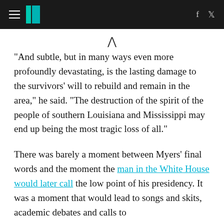HuffPost header with hamburger menu, logo, facebook and twitter icons
^
"And subtle, but in many ways even more profoundly devastating, is the lasting damage to the survivors' will to rebuild and remain in the area," he said. "The destruction of the spirit of the people of southern Louisiana and Mississippi may end up being the most tragic loss of all."
There was barely a moment between Myers' final words and the moment the man in the White House would later call the low point of his presidency. It was a moment that would lead to songs and skits, academic debates and calls to